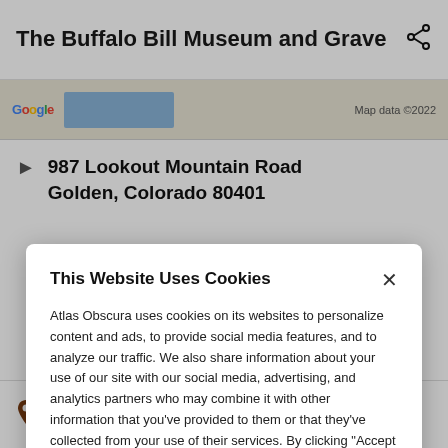The Buffalo Bill Museum and Grave
[Figure (screenshot): Partial Google Maps strip showing Google logo and map data ©2022 label with a blue map region]
987 Lookout Mountain Road Golden, Colorado 80401
This Website Uses Cookies
Atlas Obscura uses cookies on its websites to personalize content and ads, to provide social media features, and to analyze our traffic. We also share information about your use of our site with our social media, advertising, and analytics partners who may combine it with other information that you've provided to them or that they've collected from your use of their services. By clicking "Accept Cookies", you are consenting to use of cookies as described in our Cookie Policy. View Cookie Policy
Manage Preferences
Allow Cookies
Sculptured House
3.03 miles